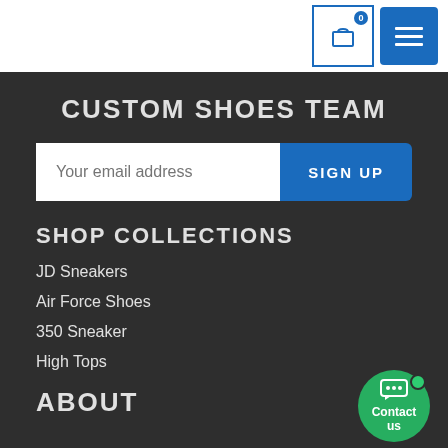Cart and menu navigation header
CUSTOM SHOES TEAM
Your email address [input] SIGN UP [button]
SHOP COLLECTIONS
JD Sneakers
Air Force Shoes
350 Sneaker
High Tops
ABOUT
[Figure (illustration): Contact us chat bubble button with green background, chat icon, and green online dot]